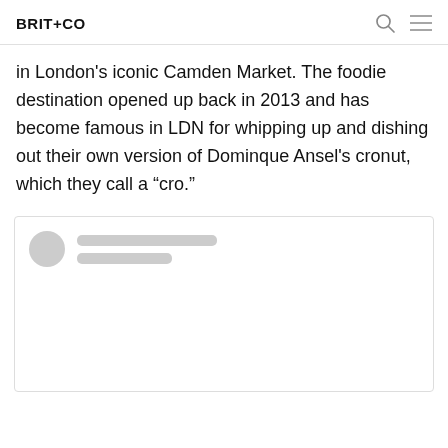BRIT+CO
in London’s iconic Camden Market. The foodie destination opened up back in 2013 and has become famous in LDN for whipping up and dishing out their own version of Dominque Ansel’s cronut, which they call a “cro.”
[Figure (screenshot): Embedded social media post loading placeholder with circular avatar and two grey line placeholders for text, with a large empty content area below]